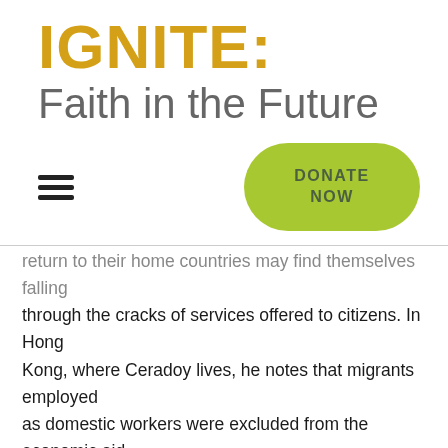IGNITE: Faith in the Future
return to their home countries may find themselves falling through the cracks of services offered to citizens. In Hong Kong, where Ceradoy lives, he notes that migrants employed as domestic workers were excluded from the economic aid offered by the government to Hong Kong nationals. The COVID-19 pandemic “has certainly exacerbated migrating peoples’ vulnerabilities to being violated, abused, exploited,” says Andrea Mann, director of Global Relations for the Anglican Church of Canada. At the same time, with lockdown orders keeping their employers at home, their workloads have increased.